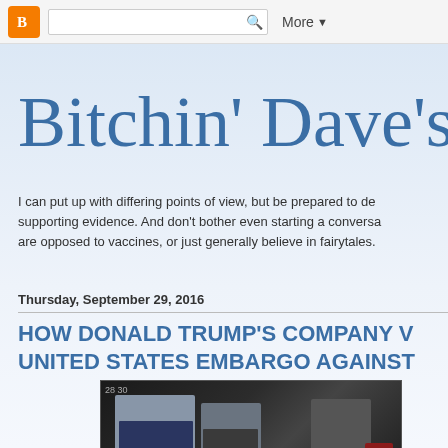Blogger navbar with logo, search box, and More menu
Bitchin' Dave's B
I can put up with differing points of view, but be prepared to de supporting evidence. And don't bother even starting a conversa are opposed to vaccines, or just generally believe in fairytales.
Thursday, September 29, 2016
HOW DONALD TRUMP'S COMPANY V UNITED STATES EMBARGO AGAINST
[Figure (photo): Photograph of Donald Trump and others walking, appears to be in a building lobby or hotel. Two men in suits visible, one in blue suit in foreground, another darker suit behind. Bright light source visible at lower left, red poinsettia plant at lower right.]